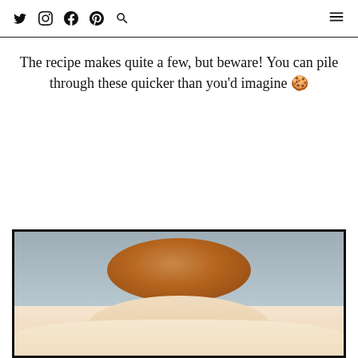Social nav icons: Twitter, Instagram, Facebook, Pinterest, Search; Hamburger menu
The recipe makes quite a few, but beware! You can pile through these quicker than you'd imagine 🍪
[Figure (photo): Close-up photo of a baked cookie or biscuit ball showing a textured brown top and white/cream base, against a light grey-blue background]